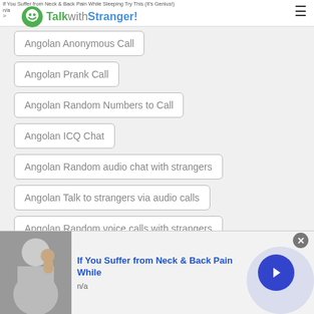TalkwithStranger!
If You Suffer from Neck & Back Pain While Sleeping Try This (It's Genius!)
n/a
>
Angolan Anonymous Call
Angolan Prank Call
Angolan Random Numbers to Call
Angolan ICQ Chat
Angolan Random audio chat with strangers
Angolan Talk to strangers via audio calls
Angolan Random voice calls with strangers
Angolan Random voice chat with strangers
[Figure (photo): Advertisement banner: photo of older man holding his neck, with text 'If You Suffer from Neck & Back Pain While' in blue bold, 'n/a' below, and a blue arrow button on the right. Close button top right.]